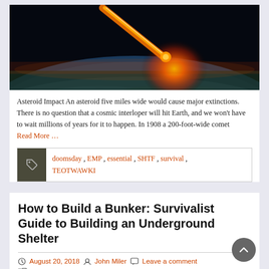[Figure (photo): Asteroid impact image showing a meteorite or asteroid streaking toward Earth from space, with a fiery orange trail against a black sky, hitting near Earth's atmosphere showing clouds and horizon.]
Asteroid Impact An asteroid five miles wide would cause major extinctions. There is no question that a cosmic interloper will hit Earth, and we won't have to wait millions of years for it to happen. In 1908 a 200-foot-wide comet
Read More …
doomsday , EMP , essential , SHTF , survival , TEOTWAWKI
How to Build a Bunker: Survivalist Guide to Building an Underground Shelter
August 20, 2018  John Miler  Leave a comment
DIY, Preparedness, Survival Facts